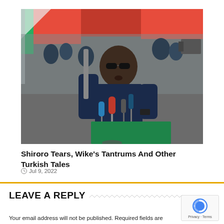[Figure (photo): A man in a dark blue shirt wearing sunglasses, speaking at a podium with multiple microphones, holding a baton/stick. A red and green tent canopy is visible in the background with a crowd of people.]
Shiroro Tears, Wike's Tantrums And Other Turkish Tales
Jul 9, 2022
LEAVE A REPLY
Your email address will not be published. Required fields are marked *